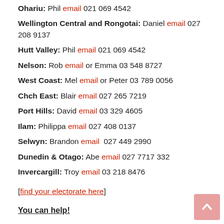Ohariu: Phil email 021 069 4542
Wellington Central and Rongotai: Daniel email 027 208 9137
Hutt Valley: Phil email 021 069 4542
Nelson: Rob email or Emma 03 548 8727
West Coast: Mel email or Peter 03 789 0056
Chch East: Blair email 027 265 7219
Port Hills: David email 03 329 4605
Ilam: Philippa email 027 408 0137
Selwyn: Brandon email  027 449 2990
Dunedin & Otago: Abe email 027 7717 332
Invercargill: Troy email 03 218 8476
[find your electorate here]
You can help!